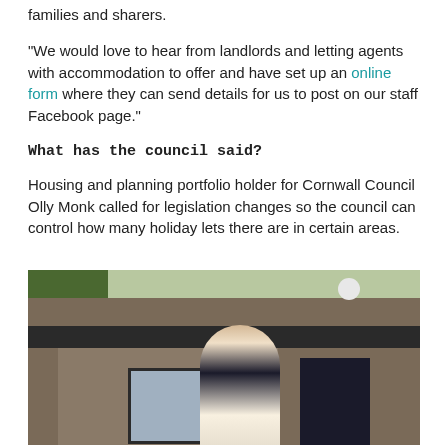families and sharers.
"We would love to hear from landlords and letting agents with accommodation to offer and have set up an online form where they can send details for us to post on our staff Facebook page."
What has the council said?
Housing and planning portfolio holder for Cornwall Council Olly Monk called for legislation changes so the council can control how many holiday lets there are in certain areas.
[Figure (photo): A man in a light blazer standing outside a wooden-clad building, with trees visible on the left and a white balloon in the upper right.]